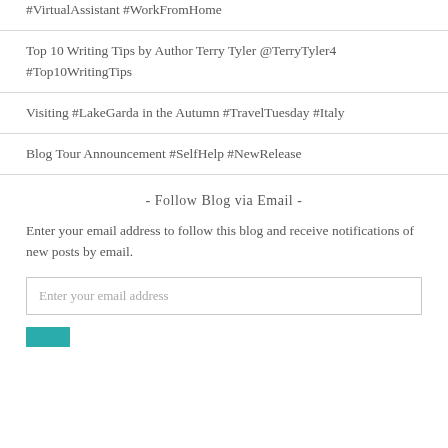#VirtualAssistant #WorkFromHome
Top 10 Writing Tips by Author Terry Tyler @TerryTyler4 #Top10WritingTips
Visiting #LakeGarda in the Autumn #TravelTuesday #Italy
Blog Tour Announcement #SelfHelp #NewRelease
- Follow Blog via Email -
Enter your email address to follow this blog and receive notifications of new posts by email.
Enter your email address